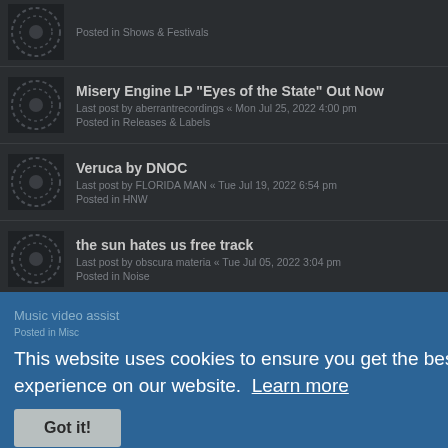Posted in Shows & Festivals
Misery Engine LP "Eyes of the State" Out Now
Last post by aberrantrecordings « Mon Jul 25, 2022 4:00 pm
Posted in Releases & Labels
Veruca by DNOC
Last post by FLORIDA MAN « Tue Jul 19, 2022 6:54 pm
Posted in HNW
the sun hates us free track
Last post by obscura materia « Tue Jul 05, 2022 3:04 pm
Posted in Noise
Robot gear
Last post by NoisWiki « Mon Jul 04, 2022 6:54 am
Posted in Gear
Music video assist
Posted in Misc
This website uses cookies to ensure you get the best experience on our website. Learn more
Got it!
Touring Texans come to Joshua Tree 7-23-22
Last post by Phogmasheeen « Wed Jun 15, 2022 6:51 pm
Posted in Shows & Festivals
Xdugef photos
Last post by NoisWiki « Sun Jun 12, 2022 2:14 pm